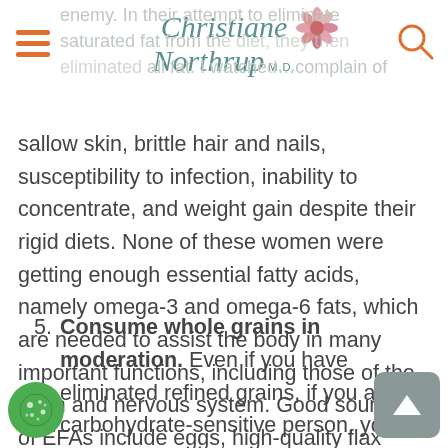Christiane Northrup M.D.
enemy. In their attempt to eliminate saturated fat from the diet, they then eliminated all fat. I watched my patients complain of sallow skin, brittle hair and nails, susceptibility to infection, inability to concentrate, and weight gain despite their rigid diets. None of these women were getting enough essential fatty acids, namely omega-3 and omega-6 fats, which are needed to assist the body in many important functions, including those of the brain and nervous system. Good sources of EFAs include eggs, high-quality flax seeds, soy, walnuts, and wild-harvested cold-water fish.
5. Consume whole grains in moderation. Even if you have eliminated refined grains, if you are a carbohydrate-sensitive person, you